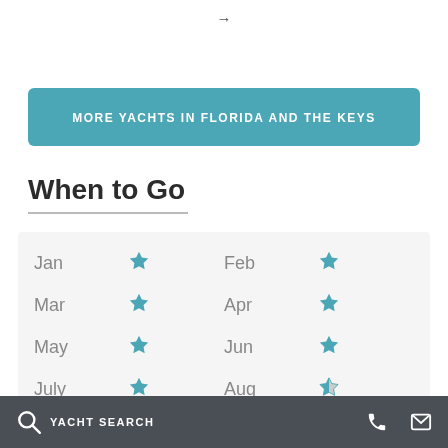[Figure (other): Arrow icon pointing right at the top center]
MORE YACHTS IN FLORIDA AND THE KEYS
When to Go
| Month | Rating | Month | Rating |
| --- | --- | --- | --- |
| Jan | ★ | Feb | ★ |
| Mar | ★ | Apr | ★ |
| May | ★ | Jun | ★ |
| July | ★ | Aug | ½★ |
YACHT SEARCH